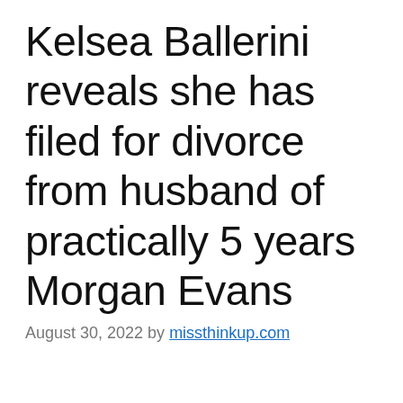Kelsea Ballerini reveals she has filed for divorce from husband of practically 5 years Morgan Evans
August 30, 2022 by missthinkup.com